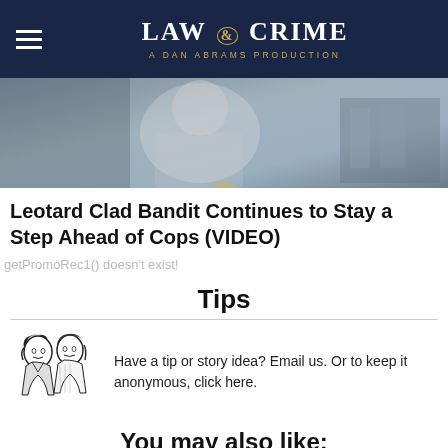LAW & CRIME — A DAN ABRAMS PRODUCTION
[Figure (screenshot): Blurry security camera footage screenshot in grayscale showing indistinct figures]
Leotard Clad Bandit Continues to Stay a Step Ahead of Cops (VIDEO)
getPromoRec1() doesn't exist!
Tips
[Figure (illustration): Retro black and white illustration of two women gossiping or sharing a secret]
Have a tip or story idea? Email us. Or to keep it anonymous, click here.
You may also like:
AP Test